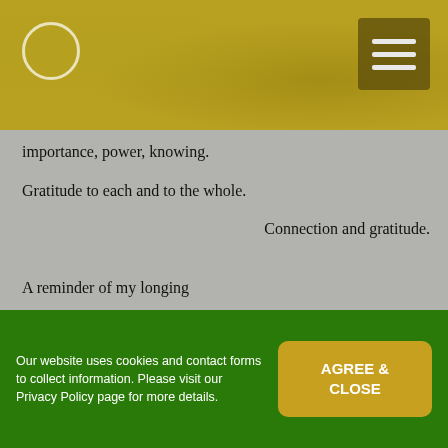[Figure (logo): Golden/olive textured header bar with a circle logo on the left and a hamburger menu button on the right]
importance, power, knowing.
Gratitude to each and to the whole.
Connection and gratitude.
A reminder of my longing
to live in the flow
of sensory perception.
Others offer different angles.
Our website uses cookies and contact forms to collect information. Please visit our Privacy Policy page for more details.